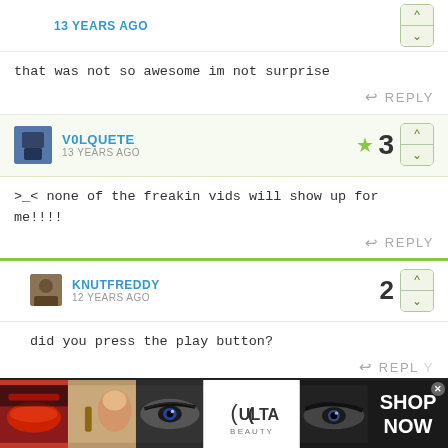13 YEARS AGO
that was not so awesome im not surprise
REPLY
V0LQUETE · 13 YEARS AGO · ☆ 3
>_< none of the freakin vids will show up for me!!!!
REPLY
KNUTFREDDY · 12 YEARS AGO · 2
did you press the play button?
REPLY
[Figure (advertisement): Ulta Beauty advertisement banner with makeup/cosmetics images showing lips, brush, eyes, Ulta logo, and SHOP NOW call to action]